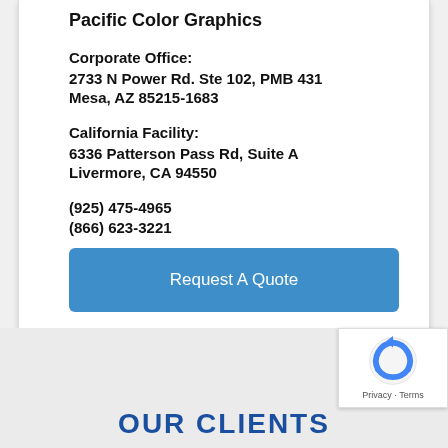Pacific Color Graphics
Corporate Office:
2733 N Power Rd. Ste 102, PMB 431
Mesa, AZ 85215-1683
California Facility:
6336 Patterson Pass Rd, Suite A
Livermore, CA 94550
(925) 475-4965
(866) 623-3221
[Figure (other): Blue rounded-rectangle button with text 'Request A Quote' in white]
OUR CLIENTS
[Figure (other): reCAPTCHA logo with Privacy and Terms text below]